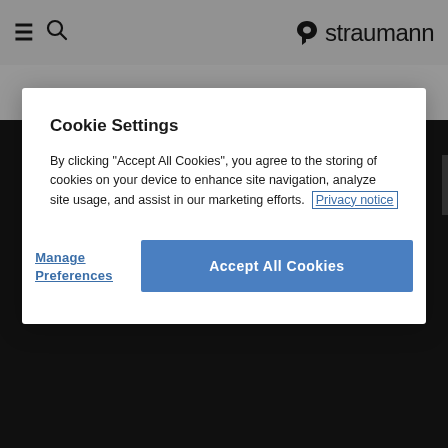[Figure (screenshot): Straumann website header with hamburger menu, search icon, and Straumann logo on grey background]
Cookie Settings
By clicking "Accept All Cookies", you agree to the storing of cookies on your device to enhance site navigation, analyze site usage, and assist in our marketing efforts.
Privacy notice
Manage Preferences
Accept All Cookies